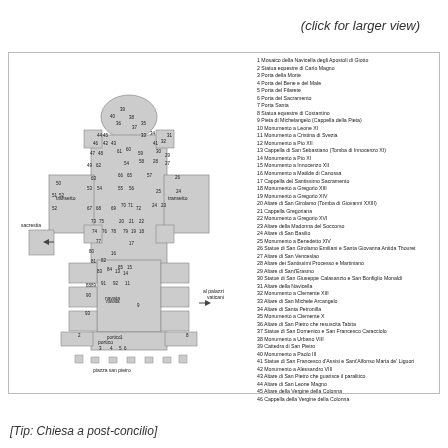(click for larger view)
[Figure (map): Floor plan / map of St. Peter's Basilica (Basilica di San Pietro) showing numbered locations of monuments, altars, chapels, and other features inside the church, with sacrestia, transetto, navata, portico, and piazza san pietro labeled. Numbers 1-93 mark specific sites.]
1 Mosaico della Navicella degli Apostoli di Giotto
2 Statua equestre di Carlo Magno
3 Porta della Morte
4 Porta del Bene e del Male
5 Porta del Filarete
6 Porta del Sacramento
7 Porta Santa
8 Statua equestre di Costantino
9 Pieta di Michelangelo (Cappella della Pieta)
10 Monumento a Leone XI
11 Monumento a Cristina di Svezia
12 Monumento a Pio XII
13 Cappella di San Sebastiano (Tomba di Innocenzo XI)
14 Monumento a Pio XI
15 Monumento a Innocenzo XII
16 Monumento a Matilde di Canossa
17 Cappella del Santissimo Sacramento
18 Monumento a Gregorio XIII
19 Monumento a Gregorio XIV
20 Altare di San Girolamo (Tomba di Giovanni XXIII)
21 Cappella Gregoriana
22 Monumento a Gregorio XVI
23 Altare della Madonna del Soccorso
24 Altare di San Basilio
25 Monumento a Benedetto XIV
26 Statue di San Girolamo Emiliani e Santa Giovanna Antida Thouret
27 Altare di San Venceslao
28 Altare dei Santissimi Processo e Martiniano
29 Altare di Sant'Erasmo
30 Statue di San Giuseppe Calasanzio e San Bonfiglio Monaldi
31 Altare della Navicella
32 Monumento a Clemente XIII
33 Altare di San Michele Arcangelo
34 Altare di Santa Petronilla
35 Monumento a Clemente X
36 Altare di San Pietro che resuscita Tabita
37 Statue di San Domenico e San Francesco Caracciolo
38 Monumento a Urbano VIII
39 Cattedra di San Pietro
40 Monumento a Paolo III
41 Statue di San Francesco d'Assisi e Sant'Alfonso Maria de' Liguori
42 Monumento a Alessandro VIII
43 Altare di San Pietro che guarisce il paralitico
44 Altare di San Leone Magno
45 Altare della Vergine della Colonna
46 Cappella della Vergine della Colonna
[Tip: Chiesa a post-concilio]